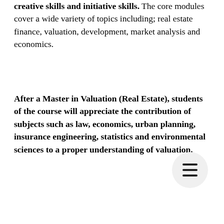creative skills and initiative skills. The core modules cover a wide variety of topics including; real estate finance, valuation, development, market analysis and economics.
After a Master in Valuation (Real Estate), students of the course will appreciate the contribution of subjects such as law, economics, urban planning, insurance engineering, statistics and environmental sciences to a proper understanding of valuation.
[Figure (other): Hamburger menu button (three horizontal lines) inside a circular button, positioned bottom-right]